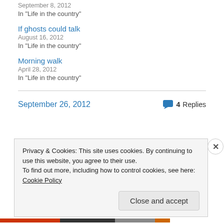September 8, 2012
In "Life in the country"
If ghosts could talk
August 16, 2012
In "Life in the country"
Morning walk
April 28, 2012
In "Life in the country"
September 26, 2012
4 Replies
Privacy & Cookies: This site uses cookies. By continuing to use this website, you agree to their use.
To find out more, including how to control cookies, see here: Cookie Policy
Close and accept